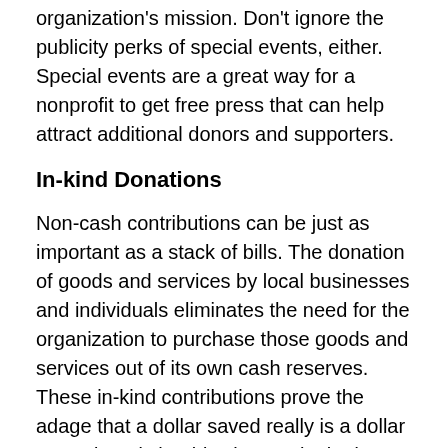organization's mission. Don't ignore the publicity perks of special events, either. Special events are a great way for a nonprofit to get free press that can help attract additional donors and supporters.
In-kind Donations
Non-cash contributions can be just as important as a stack of bills. The donation of goods and services by local businesses and individuals eliminates the need for the organization to purchase those goods and services out of its own cash reserves. These in-kind contributions prove the adage that a dollar saved really is a dollar earned, and shouldn't be overlooked as a source of